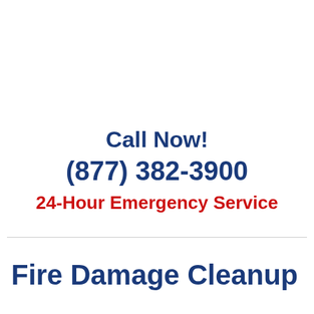Call Now!
(877) 382-3900
24-Hour Emergency Service
Fire Damage Cleanup